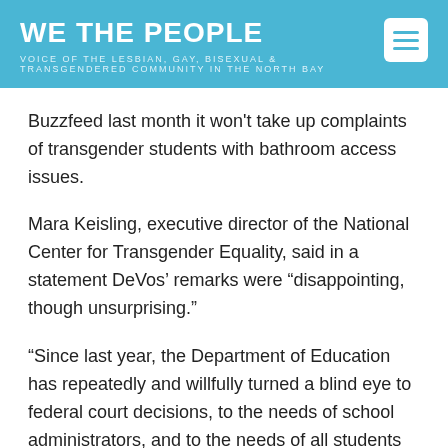WE THE PEOPLE
VOICE OF THE LESBIAN, GAY, BISEXUAL & TRANSGENDERED COMMUNITY IN THE NORTH BAY
Buzzfeed last month it won't take up complaints of transgender students with bathroom access issues.
Mara Keisling, executive director of the National Center for Transgender Equality, said in a statement DeVos’ remarks were “disappointing, though unsurprising.”
“Since last year, the Department of Education has repeatedly and willfully turned a blind eye to federal court decisions, to the needs of school administrators, and to the needs of all students — including transgender students,” Keisling said.